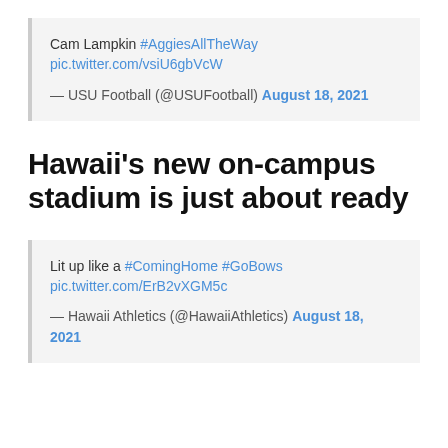Cam Lampkin #AggiesAllTheWay pic.twitter.com/vsiU6gbVcW
— USU Football (@USUFootball) August 18, 2021
Hawaii's new on-campus stadium is just about ready
Lit up like a #ComingHome #GoBows pic.twitter.com/ErB2vXGM5c
— Hawaii Athletics (@HawaiiAthletics) August 18, 2021